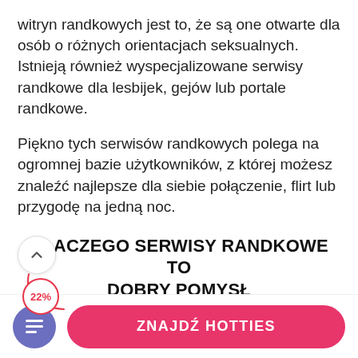witryn randkowych jest to, że są one otwarte dla osób o różnych orientacjach seksualnych. Istnieją również wyspecjalizowane serwisy randkowe dla lesbijek, gejów lub portale randkowe.
Piękno tych serwisów randkowych polega na ogromnej bazie użytkowników, z której możesz znaleźć najlepsze dla siebie połączenie, flirt lub przygodę na jedną noc.
DLACZEGO SERWISY RANDKOWE TO DOBRY POMYSŁ
Nie można zaprzeczyć, że internetowe serwisy randkowe są dla wielu z nas nową koncepcją, ale była 22%...
ZNAJDŹ HOTTIES